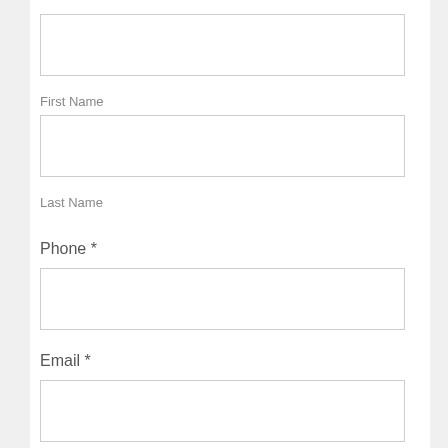[Figure (other): Empty text input field (top, no label visible)]
First Name
[Figure (other): Empty text input field for First Name]
Last Name
Phone *
[Figure (other): Empty text input field for Phone]
Email *
[Figure (other): Empty text input field for Email]